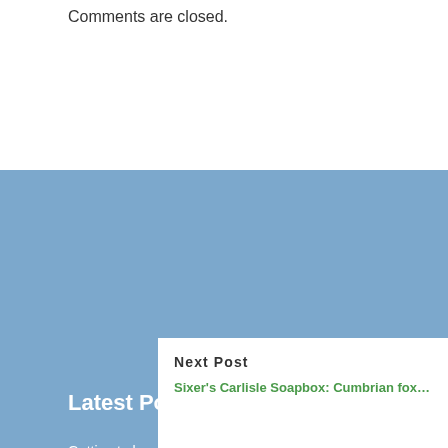Comments are closed.
Latest Posts
Getting to know the opposition – Rosie Axten
Serena Clarke – Sheffield FC – Getting to know the opposition
Faye McCoy – Stoke Ladies – Getting to know the opposition
Getting to know…
Sunderland Lac…
Next Post
Sixer's Carlisle Soapbox: Cumbrian fox…